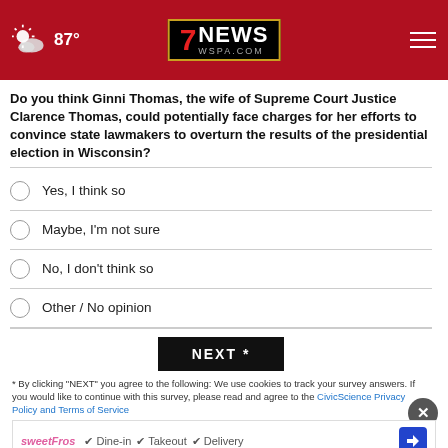7NEWS WSPA.COM — 87°
Do you think Ginni Thomas, the wife of Supreme Court Justice Clarence Thomas, could potentially face charges for her efforts to convince state lawmakers to overturn the results of the presidential election in Wisconsin?
Yes, I think so
Maybe, I'm not sure
No, I don't think so
Other / No opinion
NEXT *
* By clicking "NEXT" you agree to the following: We use cookies to track your survey answers. If you would like to continue with this survey, please read and agree to the CivicScience Privacy Policy and Terms of Service